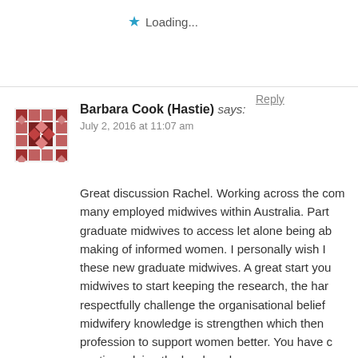★ Loading...
Reply
Barbara Cook (Hastie) says: July 2, 2016 at 11:07 am
Great discussion Rachel. Working across the com many employed midwives within Australia. Part graduate midwives to access let alone being ab making of informed women. I personally wish I these new graduate midwives. A great start you midwives to start keeping the research, the har respectfully challenge the organisational belief midwifery knowledge is strengthen which then profession to support women better. You have c continue doing the hard yards.